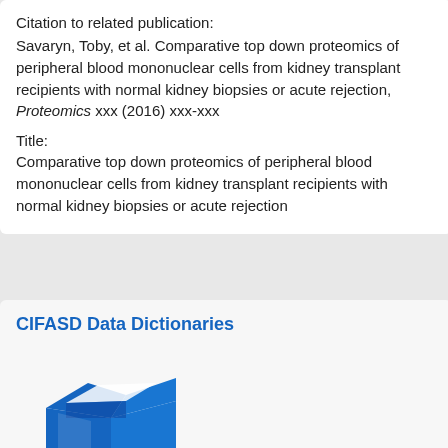Citation to related publication:
Savaryn, Toby, et al. Comparative top down proteomics of peripheral blood mononuclear cells from kidney transplant recipients with normal kidney biopsies or acute rejection, Proteomics xxx (2016) xxx-xxx
Title:
Comparative top down proteomics of peripheral blood mononuclear cells from kidney transplant recipients with normal kidney biopsies or acute rejection
CIFASD Data Dictionaries
[Figure (illustration): Blue open box / cube icon representing data dictionaries]